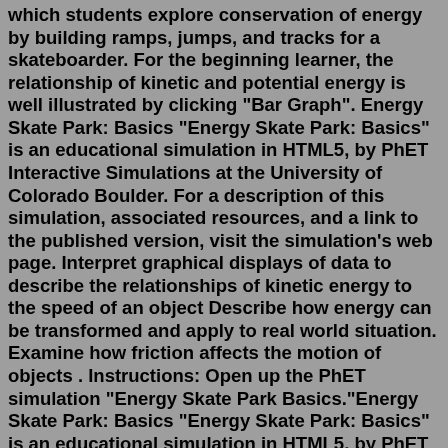which students explore conservation of energy by building ramps, jumps, and tracks for a skateboarder. For the beginning learner, the relationship of kinetic and potential energy is well illustrated by clicking "Bar Graph". Energy Skate Park: Basics "Energy Skate Park: Basics" is an educational simulation in HTML5, by PhET Interactive Simulations at the University of Colorado Boulder. For a description of this simulation, associated resources, and a link to the published version, visit the simulation's web page. Interpret graphical displays of data to describe the relationships of kinetic energy to the speed of an object Describe how energy can be transformed and apply to real world situation. Examine how friction affects the motion of objects . Instructions: Open up the PhET simulation "Energy Skate Park Basics."Energy Skate Park: Basics "Energy Skate Park: Basics" is an educational simulation in HTML5, by PhET Interactive Simulations at the University of Colorado Boulder. For a description of this simulation, associated resources, and a link to the